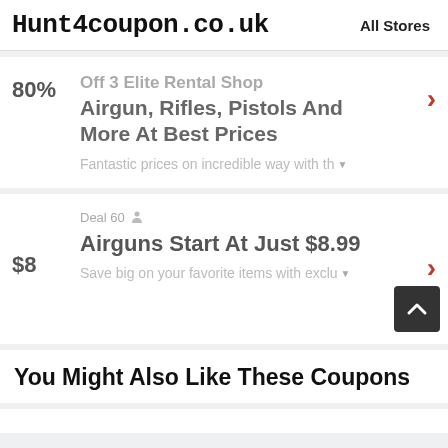Hunt4coupon.co.uk | All Stores
80% | Off 3 Elite Rental Shop Airgun, Rifles, Pistols And More At Best Prices | Fantastic prices on incredible way with th
Deal 60 | $8 | Airguns Start At Just $8.99 | Save big on your favorite items with exclu
You Might Also Like These Coupons